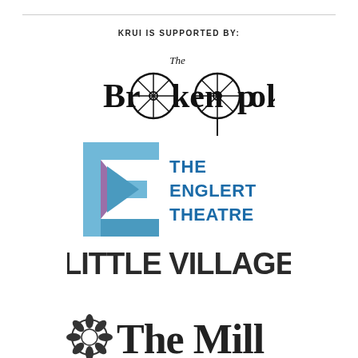KRUI IS SUPPORTED BY:
[Figure (logo): The Broken Spoke logo — stylized text with bicycle wheel imagery integrated into letters]
[Figure (logo): The Englert Theatre logo — geometric E shape in blue and purple with bold blue text]
[Figure (logo): Little Village logo — bold dark sans-serif text]
[Figure (logo): The Mill logo — circular flower emblem with bold serif text, partially visible]